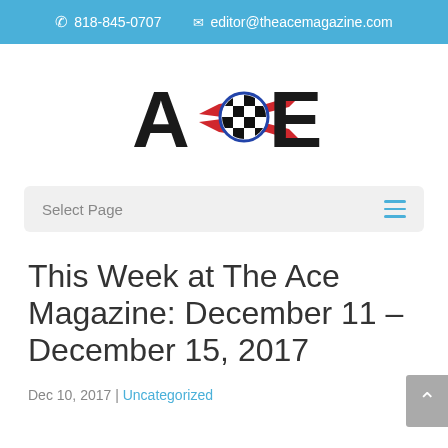818-845-0707   editor@theacemagazine.com
[Figure (logo): ACE Magazine logo with stylized letters A, C, E and a checkered flag racing emblem in the center C]
Select Page
This Week at The Ace Magazine: December 11 – December 15, 2017
Dec 10, 2017 | Uncategorized